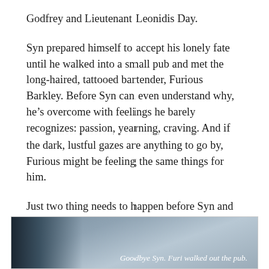Godfrey and Lieutenant Leonidis Day.
Syn prepared himself to accept his lonely fate until he walked into a small pub and met the long-haired, tattooed bartender, Furious Barkley. Before Syn can even understand why, he’s overcome with feelings he barely recognizes: passion, yearning, craving. And if the dark, lustful gazes are anything to go by, Furious might be feeling the same things for him.
Just two thing needs to happen before Syn and Furi can give each other what’s been missing from their lives for so long… Syn needs to find the evidence that proves Furi’s innocence of murder, as well as protect him from a past that refuses to let go.
[Figure (photo): Dark atmospheric photo showing a figure with light-colored, wispy hair against a grey background. Italic caption text reads: Goodbye Syn. Furi walked out the pub.]